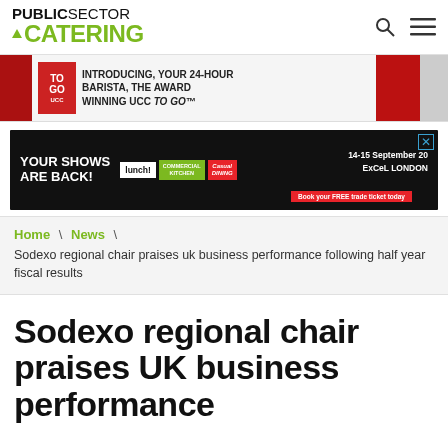PUBLIC SECTOR CATERING
[Figure (screenshot): Advertisement banner: UCC TO GO coffee machine promotion - 'INTRODUCING, YOUR 24-HOUR BARISTA, THE AWARD WINNING UCC TO GO']
[Figure (screenshot): Advertisement banner: 'YOUR SHOWS ARE BACK!' featuring lunch!, Commercial Kitchen, and Casual Dining logos with '14-15 September 20 ExCeL LONDON' and 'Book your FREE trade ticket today']
Home \ News \ Sodexo regional chair praises uk business performance following half year fiscal results
Sodexo regional chair praises UK business performance